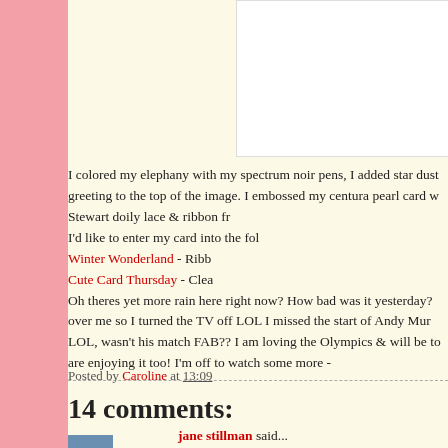[Figure (photo): White rectangular image box at top right of content area]
I colored my elephany with my spectrum noir pens, I added star dust greeting to the top of the image. I embossed my centura pearl card w Stewart doily lace & ribbon fr I'd like to enter my card into the fol Winter Wonderland - Ribb Cute Card Thursday - Clea Oh theres yet more rain here right now? How bad was it yesterday? over me so I turned the TV off LOL I missed the start of Andy Mur LOL, wasn't his match FAB?? I am loving the Olympics & will be to are enjoying it too! I'm off to watch some more -
Posted by Caroline at 13:09
14 comments:
jane stillman said...